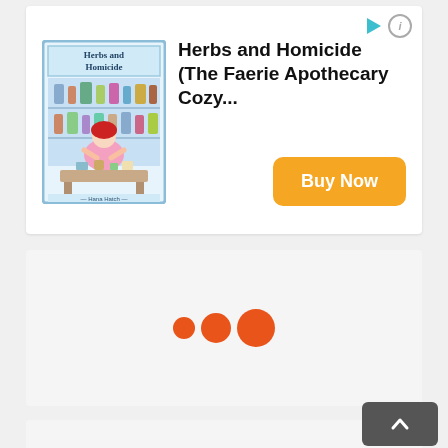[Figure (screenshot): Advertisement banner for 'Herbs and Homicide (The Faerie Apothecary Cozy...)' book. Shows book cover on left, title text in center, orange play and info icons top-right, and an orange 'Buy Now' button bottom-right.]
[Figure (other): Loading indicator panel with three orange circles of increasing size (small, medium, large) centered in a light gray panel.]
[Figure (other): Second loading indicator panel (partially visible) with three orange circles of increasing size centered in a light gray panel. A scroll-to-top button (dark gray, upward chevron) is visible at bottom-right.]